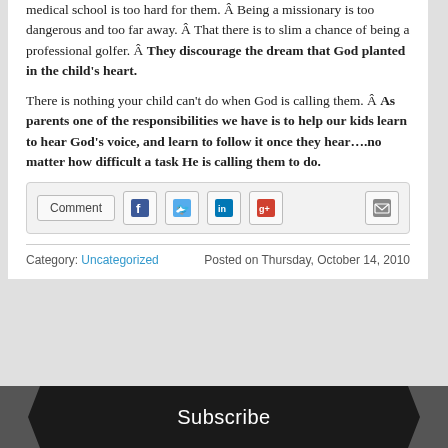medical school is too hard for them. Â Being a missionary is too dangerous and too far away. Â That there is to slim a chance of being a professional golfer. Â They discourage the dream that God planted in the child's heart.
There is nothing your child can't do when God is calling them. Â As parents one of the responsibilities we have is to help our kids learn to hear God's voice, and learn to follow it once they hear….no matter how difficult a task He is calling them to do.
[Figure (other): Social sharing bar with Comment button, Facebook, Twitter, LinkedIn, Google+, and email icons]
Category: Uncategorized    Posted on Thursday, October 14, 2010
Subscribe